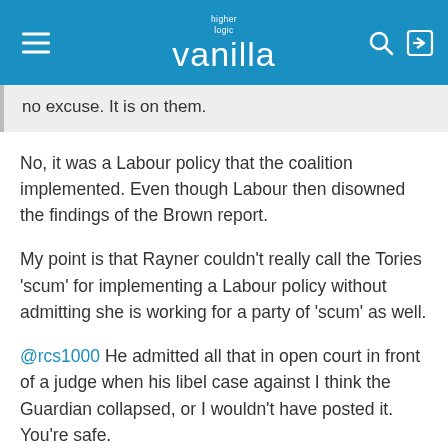higher logic vanilla
no excuse. It is on them.
No, it was a Labour policy that the coalition implemented. Even though Labour then disowned the findings of the Brown report.
My point is that Rayner couldn't really call the Tories 'scum' for implementing a Labour policy without admitting she is working for a party of 'scum' as well.
@rcs1000 He admitted all that in open court in front of a judge when his libel case against I think the Guardian collapsed, or I wouldn't have posted it. You're safe.
And now - back to work, having survived the commute.